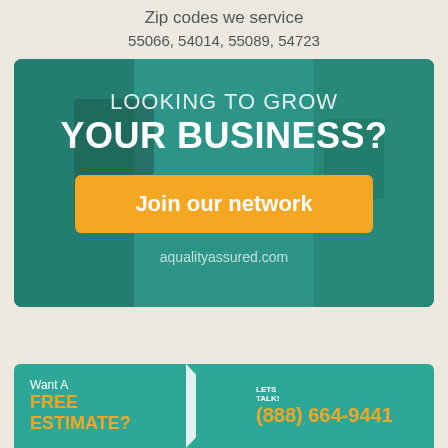Zip codes we service
55066, 54014, 55089, 54723
[Figure (infographic): Teal banner ad with background room image. Text reads 'LOOKING TO GROW YOUR BUSINESS?' with an orange 'Join our network' button and 'aqualityassured.com' website below.]
[Figure (infographic): Bottom teal banner with 'Want A FREE ESTIMATE?' on left in white/orange text, chevron divider in center, and 'LETS TALK! (888) 664-9441' on right.]